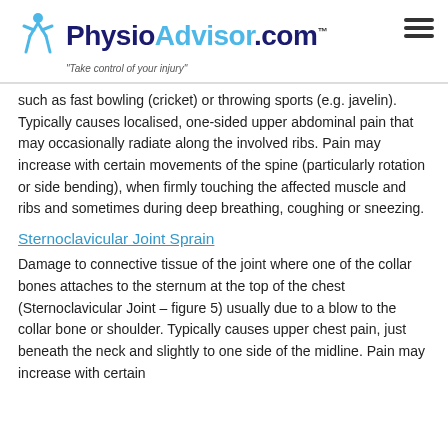PhysioAdvisor.com "Take control of your injury"
such as fast bowling (cricket) or throwing sports (e.g. javelin). Typically causes localised, one-sided upper abdominal pain that may occasionally radiate along the involved ribs. Pain may increase with certain movements of the spine (particularly rotation or side bending), when firmly touching the affected muscle and ribs and sometimes during deep breathing, coughing or sneezing.
Sternoclavicular Joint Sprain
Damage to connective tissue of the joint where one of the collar bones attaches to the sternum at the top of the chest (Sternoclavicular Joint – figure 5) usually due to a blow to the collar bone or shoulder. Typically causes upper chest pain, just beneath the neck and slightly to one side of the midline. Pain may increase with certain